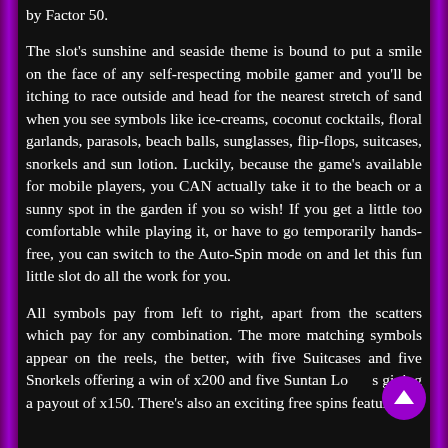by Factor 50. The slot's sunshine and seaside theme is bound to put a smile on the face of any self-respecting mobile gamer and you'll be itching to race outside and head for the nearest stretch of sand when you see symbols like ice-creams, coconut cocktails, floral garlands, parasols, beach balls, sunglasses, flip-flops, suitcases, snorkels and sun lotion. Luckily, because the game's available for mobile players, you CAN actually take it to the beach or a sunny spot in the garden if you so wish! If you get a little too comfortable while playing it, or have to go temporarily hands-free, you can switch to the Auto-Spin mode on and let this fun little slot do all the work for you. All symbols pay from left to right, apart from the scatters which pay for any combination. The more matching symbols appear on the reels, the better, with five Suitcases and five Snorkels offering a win of x200 and five Suntan Lotions giving a payout of x150. There's also an exciting free spins feature…